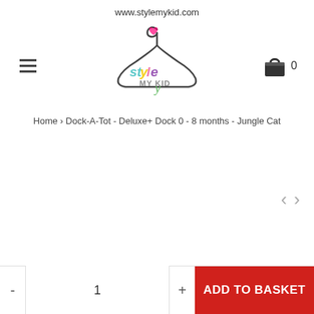www.stylemykid.com
[Figure (logo): Style My Kid logo: a clothes hanger with a heart at the top, and the text 'style MY KID' in multicolor letters]
Home › Dock-A-Tot - Deluxe+ Dock 0 - 8 months - Jungle Cat
‹  ›